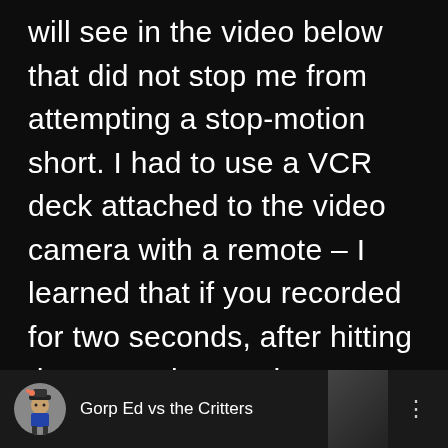will see in the video below that did not stop me from attempting a stop-motion short. I had to use a VCR deck attached to the video camera with a remote – I learned that if you recorded for two seconds, after hitting the pause button the VCR would back up one second… most of the time.
[Figure (screenshot): YouTube-style bottom bar with circular avatar showing cartoon character, channel name 'Gorp Ed vs the Critters', and three-dot menu icon]